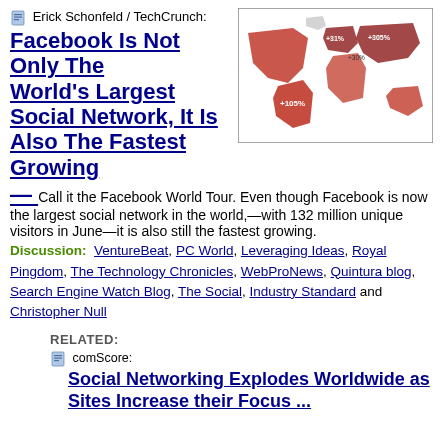📄 Erick Schonfeld / TechCrunch:
[Figure (map): World map with red highlighted regions and percentage labels showing Facebook growth rates by region]
Facebook Is Not Only The World's Largest Social Network, It Is Also The Fastest Growing — Call it the Facebook World Tour. Even though Facebook is now the largest social network in the world,—with 132 million unique visitors in June—it is also still the fastest growing.
Discussion: VentureBeat, PC World, Leveraging Ideas, Royal Pingdom, The Technology Chronicles, WebProNews, Quintura blog, Search Engine Watch Blog, The Social, Industry Standard and Christopher Null
RELATED:
📄 comScore:
Social Networking Explodes Worldwide as Sites Increase their Focus ...